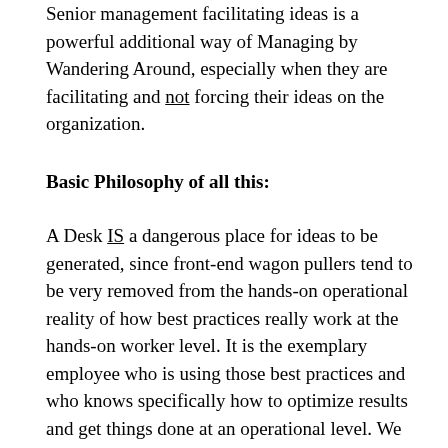Senior management facilitating ideas is a powerful additional way of Managing by Wandering Around, especially when they are facilitating and not forcing their ideas on the organization.
Basic Philosophy of all this:
A Desk IS a dangerous place for ideas to be generated, since front-end wagon pullers tend to be very removed from the hands-on operational reality of how best practices really work at the hands-on worker level. It is the exemplary employee who is using those best practices and who knows specifically how to optimize results and get things done at an operational level. We need more sharing at that level to make improvements in performance and to generate innovation.